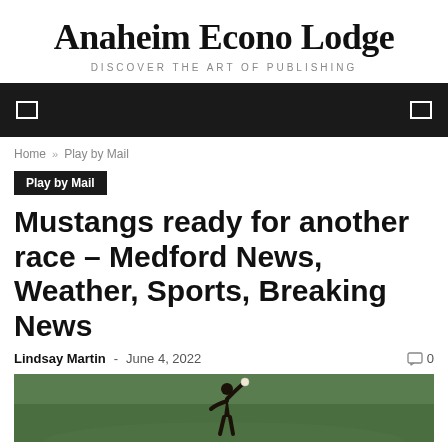Anaheim Econo Lodge
DISCOVER THE ART OF PUBLISHING
[Figure (other): Black navigation bar with two rectangle/hamburger menu icons on left and right sides]
Home » Play by Mail
Play by Mail
Mustangs ready for another race – Medford News, Weather, Sports, Breaking News
Lindsay Martin - June 4, 2022  0
[Figure (photo): Baseball player on a green field, partially visible at bottom of page]